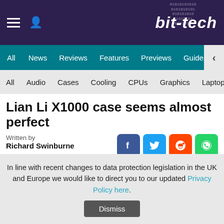bit-tech
All | News | Reviews | Features | Previews | Guides | B
All | Audio | Cases | Cooling | CPUs | Graphics | Laptops | M
Lian Li X1000 case seems almost perfect
Written by
Richard Swinburne
June 4, 2009 | 13:36
Tags: #aluminium #aluminum #black #case #chassis #computex-2009 #li #lian #x1000 #x2000
Companies: #lian-li
In line with recent changes to data protection legislation in the UK and Europe we would like to direct you to our updated Privacy Policy here.